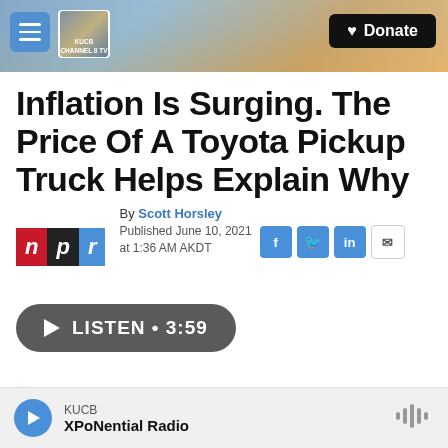KUCB Channel 8 TV | Donate
Inflation Is Surging. The Price Of A Toyota Pickup Truck Helps Explain Why
By Scott Horsley
Published June 10, 2021 at 1:36 AM AKDT
LISTEN • 3:59
KUCB XPoNential Radio